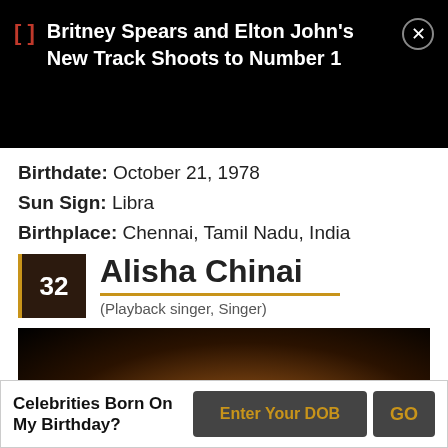Britney Spears and Elton John's New Track Shoots to Number 1
Birthdate: October 21, 1978
Sun Sign: Libra
Birthplace: Chennai, Tamil Nadu, India
32 Alisha Chinai
(Playback singer, Singer)
[Figure (photo): Dark photo showing top of a person's head with dark hair against black background]
Celebrities Born On My Birthday? Enter Your DOB GO